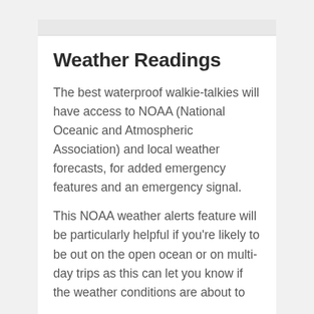Weather Readings
The best waterproof walkie-talkies will have access to NOAA (National Oceanic and Atmospheric Association) and local weather forecasts, for added emergency features and an emergency signal.
This NOAA weather alerts feature will be particularly helpful if you're likely to be out on the open ocean or on multi-day trips as this can let you know if the weather conditions are about to